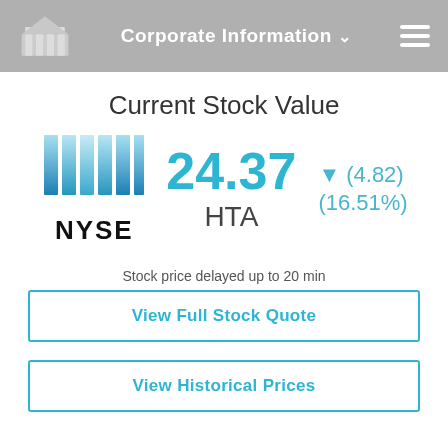Corporate Information
Current Stock Value
[Figure (logo): NYSE logo with blue vertical bars and NYSE text below]
24.37
▼ (4.82) (16.51%)
HTA
Stock price delayed up to 20 min
View Full Stock Quote
View Historical Prices